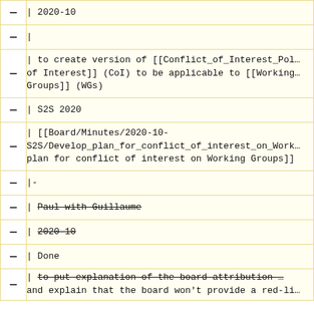| — | | 2020-10 |
| — | | |
| — | | to create version of [[Conflict_of_Interest_Pol… of Interest]] (CoI) to be applicable to [[Working… Groups]] (WGs) |
| — | | S2S 2020 |
| — | | [[Board/Minutes/2020-10-S2S/Develop_plan_for_conflict_of_interest_on_Work… plan for conflict of interest on Working Groups]] |
| — | |- |
| — | | <s>Paul with Guillaume</s> |
| — | | <s>2020-10</s> |
| — | | Done |
| — | | <s>to put explanation of the board attribution … and explain that the board won't provide a red-li… |